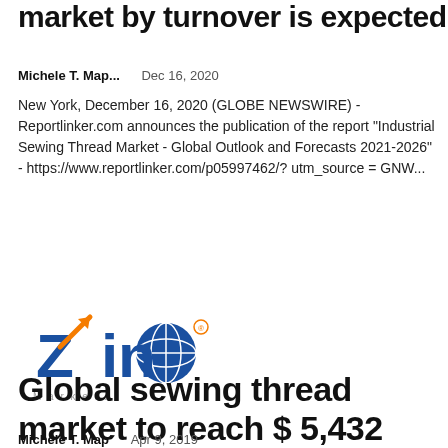market by turnover is expected
Michele T. Map...    Dec 16, 2020
New York, December 16, 2020 (GLOBE NEWSWIRE) - Reportlinker.com announces the publication of the report "Industrial Sewing Thread Market - Global Outlook and Forecasts 2021-2026" - https://www.reportlinker.com/p05997462/?utm_source = GNW...
[Figure (logo): Zion Market Research logo - blue and orange logo with globe icon]
Global sewing thread market to reach $ 5,432 million by
Michele T. Map    Apr 9, 2019